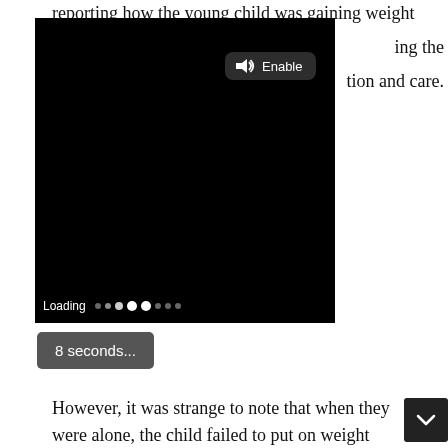reporting how the young child was gaining weight
ing the
tion and care.
[Figure (screenshot): Embedded video player showing a black/loading screen with an 'Enable' audio button and loading indicator dots at the bottom showing 'Loading']
8 seconds...
However, it was strange to note that when they were alone, the child failed to put on weight